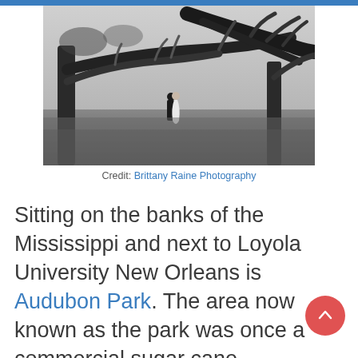[Figure (photo): Black and white photograph of a couple (bride in white dress, groom in dark suit) standing under large sprawling live oak trees in an open field/park. The trees have dramatic horizontal branches extending across the frame. The scene is in Audubon Park, New Orleans.]
Credit: Brittany Raine Photography
Sitting on the banks of the Mississippi and next to Loyola University New Orleans is Audubon Park. The area now known as the park was once a commercial sugar cane plantation that was then